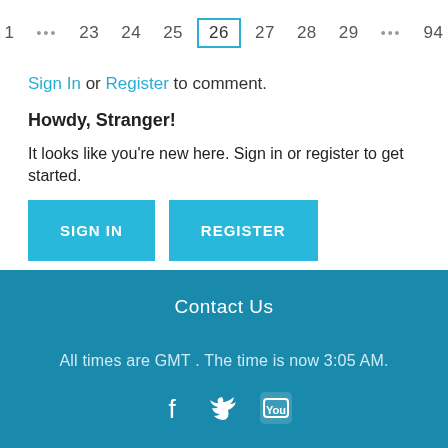1 … 23 24 25 26 27 28 29 … 94
Sign In or Register to comment.
Howdy, Stranger!
It looks like you're new here. Sign in or register to get started.
SIGN IN   REGISTER
Contact Us
All times are GMT . The time is now 3:05 AM.